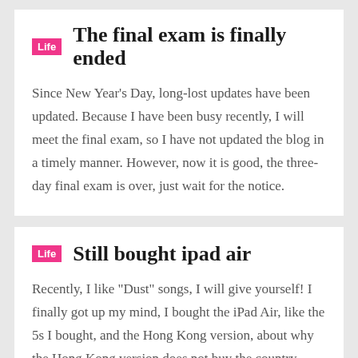The final exam is finally ended
Since New Year's Day, long-lost updates have been updated. Because I have been busy recently, I will meet the final exam, so I have not updated the blog in a timely manner. However, now it is good, the three-day final exam is over, just wait for the notice.
Still bought ipad air
Recently, I like "Dust" songs, I will give yourself! I finally got up my mind, I bought the iPad Air, like the 5s I bought, and the Hong Kong version, about why the Hong Kong version does not buy the country, nothing is the reason, and I also learned 5S 16G
Riding a bicycle to travel